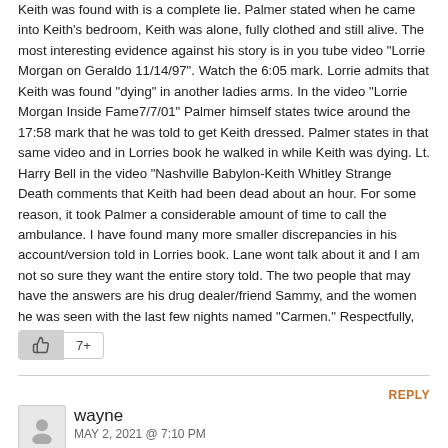Keith was found with is a complete lie. Palmer stated when he came into Keith's bedroom, Keith was alone, fully clothed and still alive. The most interesting evidence against his story is in you tube video “Lorrie Morgan on Geraldo 11/14/97”. Watch the 6:05 mark. Lorrie admits that Keith was found “dying” in another ladies arms. In the video “Lorrie Morgan Inside Fame7/7/01” Palmer himself states twice around the 17:58 mark that he was told to get Keith dressed. Palmer states in that same video and in Lorries book he walked in while Keith was dying. Lt. Harry Bell in the video “Nashville Babylon-Keith Whitley Strange Death comments that Keith had been dead about an hour. For some reason, it took Palmer a considerable amount of time to call the ambulance. I have found many more smaller discrepancies in his account/version told in Lorries book. Lane wont talk about it and I am not so sure they want the entire story told. The two people that may have the answers are his drug dealer/friend Sammy, and the women he was seen with the last few nights named “Carmen.” Respectfully, Jim
[Figure (other): Like/thumbs-up button with count showing 7+]
wayne
MAY 2, 2021 @ 7:10 PM
REPLY